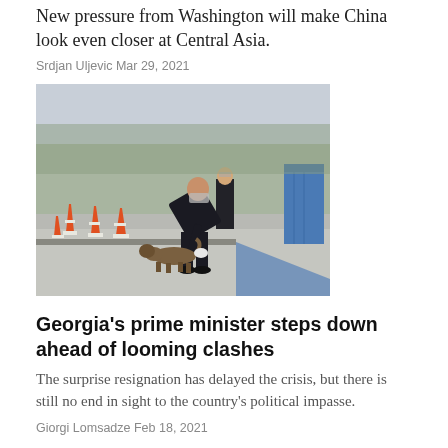New pressure from Washington will make China look even closer at Central Asia.
Srdjan Uljevic Mar 29, 2021
[Figure (photo): A man in a dark suit and face mask bending down toward a dog near orange traffic cones on a road, with trees and a blue container in the background. Another person in a suit and mask stands in the background.]
Georgia's prime minister steps down ahead of looming clashes
The surprise resignation has delayed the crisis, but there is still no end in sight to the country's political impasse.
Giorgi Lomsadze Feb 18, 2021